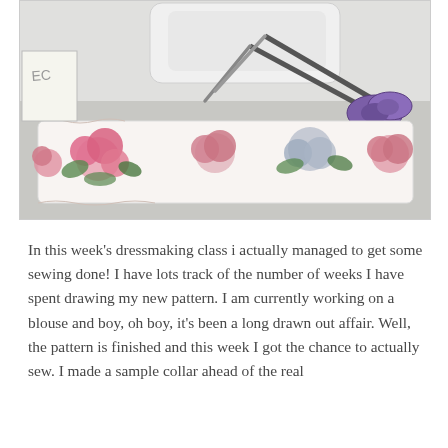[Figure (photo): A photo of a floral fabric collar piece (white fabric with pink roses and green leaves pattern) laid flat on a desk surface, alongside a pair of purple scissors and a white sewing machine or roll of tape in the background.]
In this week's dressmaking class i actually managed to get some sewing done! I have lots track of the number of weeks I have spent drawing my new pattern. I am currently working on a blouse and boy, oh boy, it's been a long drawn out affair. Well, the pattern is finished and this week I got the chance to actually sew. I made a sample collar ahead of the real